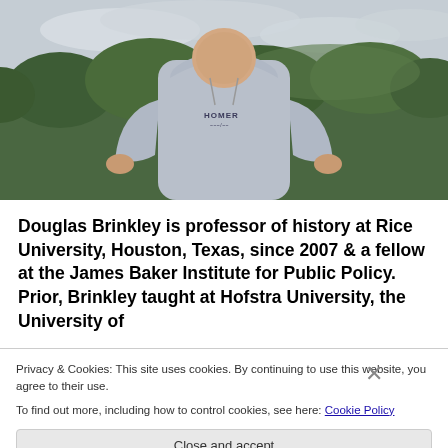[Figure (photo): Photograph of Douglas Brinkley wearing a gray 'HOMER' hoodie sweatshirt, standing outdoors with trees and cloudy sky in the background.]
Douglas Brinkley is professor of history at Rice University, Houston, Texas, since 2007 & a fellow at the James Baker Institute for Public Policy. Prior, Brinkley taught at Hofstra University, the University of
Privacy & Cookies: This site uses cookies. By continuing to use this website, you agree to their use.
To find out more, including how to control cookies, see here: Cookie Policy
Close and accept